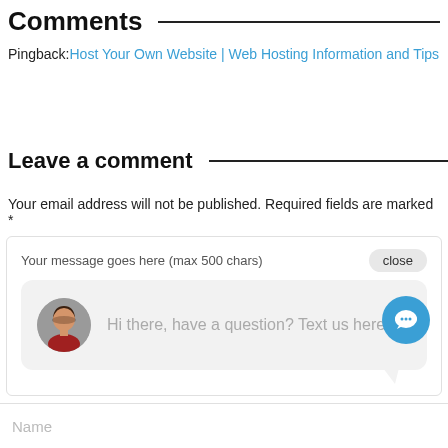Comments
Pingback: Host Your Own Website | Web Hosting Information and Tips
Leave a comment
Your email address will not be published. Required fields are marked *
[Figure (screenshot): Chat widget showing 'Your message goes here (max 500 chars)' with a close button, and a chat bubble with a woman's avatar saying 'Hi there, have a question? Text us here.' A blue circular chat FAB icon is visible at bottom right.]
Name